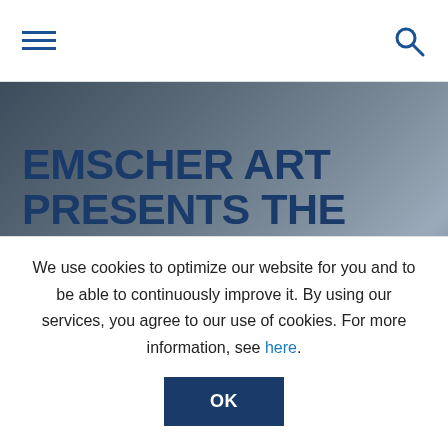Navigation header with hamburger menu and search icon
[Figure (photo): Blurred outdoor/road background photo used as hero image banner]
EMSCHER ART PRESENTS THE “BLACK CIRCLE SQUARE”
Emscher Art presents the “Black
Dortmund & Castrop-Rauxel-Ickern - Germany
We use cookies to optimize our website for you and to be able to continuously improve it. By using our services, you agree to our use of cookies. For more information, see here.